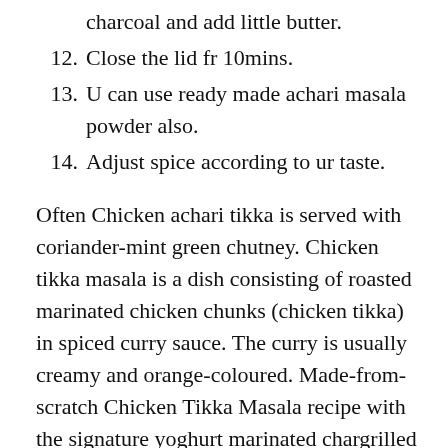charcoal and add little butter.
12. Close the lid fr 10mins.
13. U can use ready made achari masala powder also.
14. Adjust spice according to ur taste.
Often Chicken achari tikka is served with coriander-mint green chutney. Chicken tikka masala is a dish consisting of roasted marinated chicken chunks (chicken tikka) in spiced curry sauce. The curry is usually creamy and orange-coloured. Made-from-scratch Chicken Tikka Masala recipe with the signature yoghurt marinated chargrilled chicken smothered in an incredible spice infused curry sauce. I first had